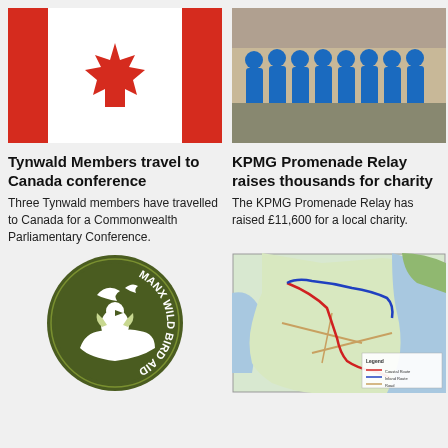[Figure (photo): Canadian flag waving against blue sky]
[Figure (photo): Group of people in blue KPMG t-shirts posing for photo]
Tynwald Members travel to Canada conference
KPMG Promenade Relay raises thousands for charity
Three Tynwald members have travelled to Canada for a Commonwealth Parliamentary Conference.
The KPMG Promenade Relay has raised £11,600 for a local charity.
[Figure (logo): Manx Wild Bird Aid circular logo — dark olive green circle with bird and hands silhouette and text around edge]
[Figure (map): Map showing a coastal area with red and blue route lines and a legend in the bottom right]